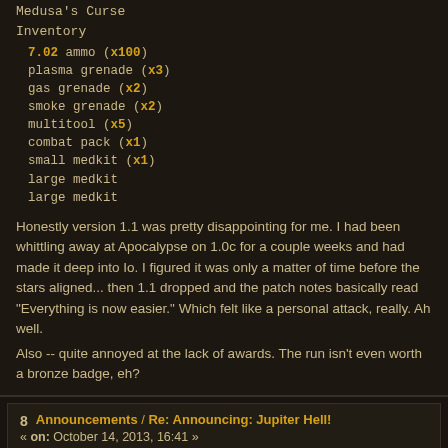Medusa's Curse
Inventory
  7.02 ammo (x100)
  plasma grenade (x3)
  gas grenade (x2)
  smoke grenade (x2)
  multitool (x5)
  combat pack (x1)
  small medkit (x1)
  large medkit
  large medkit
Honestly version 1.1 was pretty disappointing for me.  I had been whittling away at Apocalypse on 1.0c for a couple weeks and had made it deep into Io.  I figured it was only a matter of time before the stars aligned... then 1.1 dropped and the patch notes basically read "Everything is now easier."  Which felt like a personal attack, really.  Ah well.

Also -- quite annoyed at the lack of awards.  The run isn't even worth a bronze badge, eh?
Announcements / Re: Announcing: Jupiter Hell!
« on: October 14, 2013, 16:41 »
I am unreasonably interested in this.
Nightmare! / [N!|100%|YAAM] Veteran Angelic, Elite Angelic